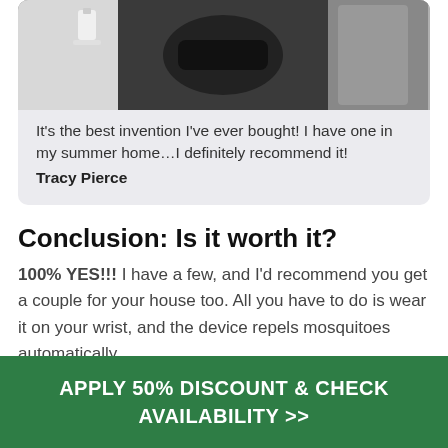[Figure (photo): Photo of a wrist-worn device with cables and accessories, partially visible at top of review card]
It’s the best invention I’ve ever bought! I have one in my summer home…I definitely recommend it!
Tracy Pierce
Conclusion: Is it worth it?
100% YES!!! I have a few, and I’d recommend you get a couple for your house too. All you have to do is wear it on your wrist, and the device repels mosquitoes automatically.
APPLY 50% DISCOUNT & CHECK AVAILABILITY >>